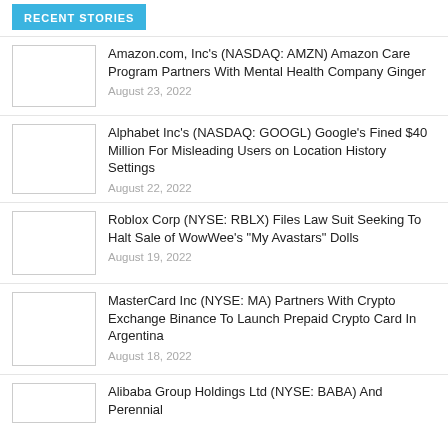RECENT STORIES
Amazon.com, Inc’s (NASDAQ: AMZN) Amazon Care Program Partners With Mental Health Company Ginger
August 23, 2022
Alphabet Inc’s (NASDAQ: GOOGL) Google’s Fined $40 Million For Misleading Users on Location History Settings
August 22, 2022
Roblox Corp (NYSE: RBLX) Files Law Suit Seeking To Halt Sale of WowWee’s “My Avastars” Dolls
August 19, 2022
MasterCard Inc (NYSE: MA) Partners With Crypto Exchange Binance To Launch Prepaid Crypto Card In Argentina
August 18, 2022
Alibaba Group Holdings Ltd (NYSE: BABA) And Perennial